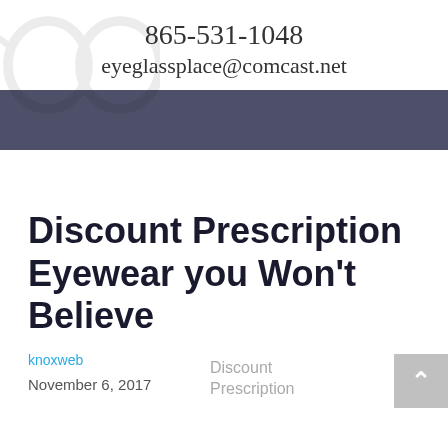865-531-1048
eyeglassplace@comcast.net
Discount Prescription Eyewear you Won't Believe
knoxweb
November 6, 2017
Discount
Prescription